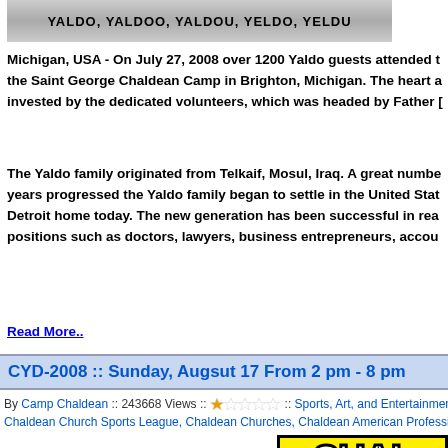[Figure (photo): Banner image with text: YALDO, YALDOO, YALDOU, YELDO, YELDU on a gray decorative background]
Michigan, USA - On July 27, 2008 over 1200 Yaldo guests attended t the Saint George Chaldean Camp in Brighton, Michigan. The heart a invested by the dedicated volunteers, which was headed by Father [truncated]
The Yaldo family originated from Telkaif, Mosul, Iraq. A great numbe years progressed the Yaldo family began to settle in the United Stat Detroit home today. The new generation has been successful in rea positions such as doctors, lawyers, business entrepreneurs, accou [truncated]
Read More..
CYD-2008 :: Sunday, Augsut 17 From 2 pm - 8 pm
By Camp Chaldean :: 243668 Views :: [1 star rating] :: Sports, Art, and Entertainment, C Chaldean Church Sports League, Chaldean Churches, Chaldean American Professiona
[Figure (photo): Partial view of a yellow and black graphic showing text starting with CHAL and YOU]